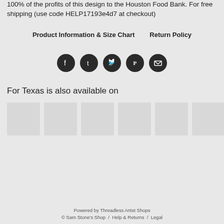100% of the profits of this design to the Houston Food Bank. For free shipping (use code HELP17193e4d7 at checkout)
Product Information & Size Chart   Return Policy
[Figure (infographic): Five social media share icons (Facebook, Tumblr, Twitter, Pinterest, Email) as dark circular buttons]
For Texas is also available on
[Figure (infographic): Six product thumbnail placeholder images in a horizontal row]
Powered by Threadless Artist Shops
© Sam Stone's Shop / Help & Returns / Legal